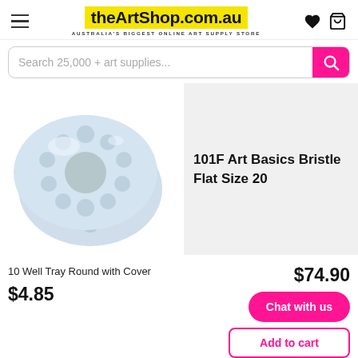[Figure (logo): theArtShop.com.au logo with yellow background text and subtitle AUSTRALIA'S BIGGEST ONLINE ART SUPPLY STORE]
Search 25,000 + art supplies...
[Figure (photo): Two white round plastic paint palette trays with circular wells, overlapping, light blue tint]
101F Art Basics Bristle Flat Size 20
10 Well Tray Round with Cover
$4.85
$74.90
Chat with us
Add to cart